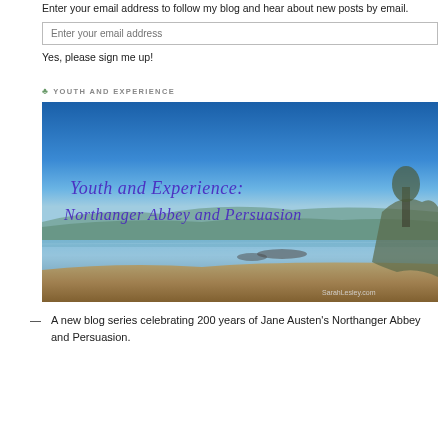Enter your email address to follow my blog and hear about new posts by email.
Enter your email address
Yes, please sign me up!
YOUTH AND EXPERIENCE
[Figure (photo): A coastal landscape photo with bright blue sky and water, featuring script text overlay reading 'Youth and Experience: Northanger Abbey and Persuasion' in purple/blue cursive, with 'SarahLesley.com' watermark.]
— A new blog series celebrating 200 years of Jane Austen's Northanger Abbey and Persuasion.